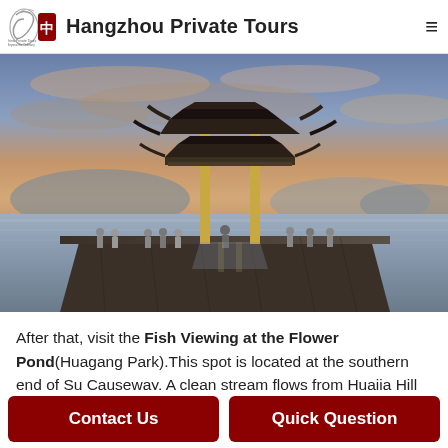Hangzhou Private Tours
[Figure (photo): A traditional Chinese pavilion on West Lake at sunset, with people standing on a long dock extending over still water, mountains in the background.]
After that, visit the Fish Viewing at the Flower Pond(Huagang Park).This spot is located at the southern end of Su Causeway. A clean stream flows from Huajia Hill to join West Lake here, and many flowers grow where the fresh water flows in, so it called "Flowery
Contact Us
Quick Question